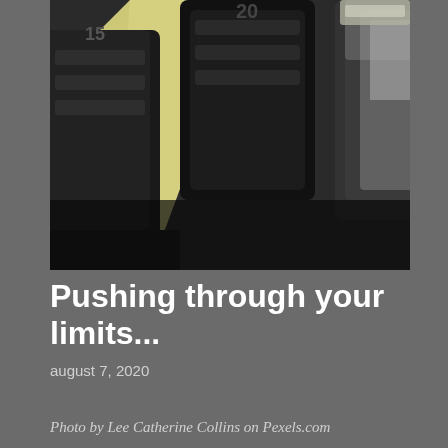[Figure (photo): Close-up photo of black hex dumbbells on a rack with a yellowish/light background visible between them. The image is in black and white tones with the dumbbell heads being very dark/black.]
Pushing through your limits...
august 7, 2020
Photo by Lee Catherine Collins on Pexels.com